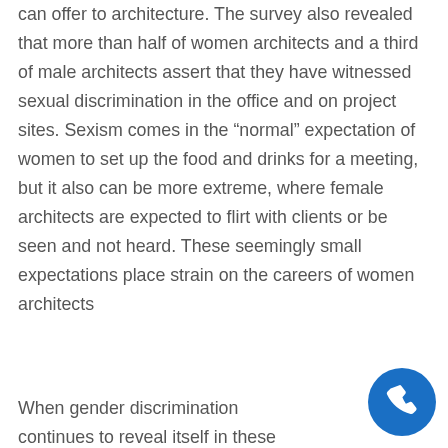can offer to architecture. The survey also revealed that more than half of women architects and a third of male architects assert that they have witnessed sexual discrimination in the office and on project sites. Sexism comes in the “normal” expectation of women to set up the food and drinks for a meeting, but it also can be more extreme, where female architects are expected to flirt with clients or be seen and not heard. These seemingly small expectations place strain on the careers of women architects
When gender discrimination continues to reveal itself in these
[Figure (other): Blue circular phone/call button icon in bottom-right corner]